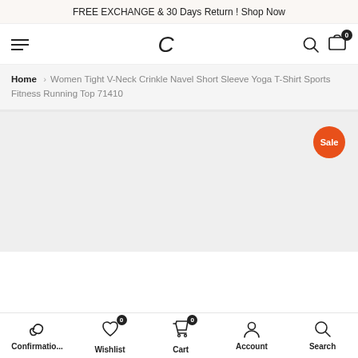FREE EXCHANGE & 30 Days Return ! Shop Now
[Figure (screenshot): Navigation bar with hamburger menu on left, stylized C logo in center, search icon and cart icon (badge: 0) on right]
Home > Women Tight V-Neck Crinkle Navel Short Sleeve Yoga T-Shirt Sports Fitness Running Top 71410
[Figure (photo): Large light gray product image area with orange Sale badge in top right corner]
Confirmatio... | Wishlist (0) | Cart (0) | Account | Search